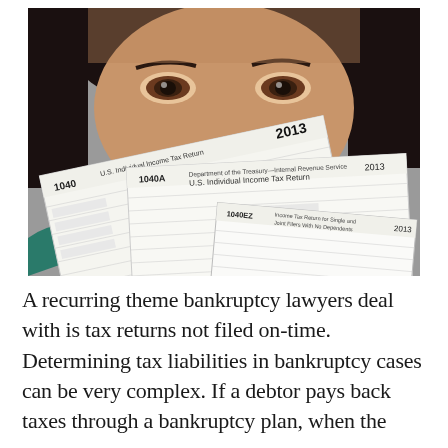[Figure (photo): A woman holding up three 2013 IRS tax return forms (1040, 1040A, 1040EZ) in front of her face, with only her eyes and forehead visible above the forms. The background is grey.]
A recurring theme bankruptcy lawyers deal with is tax returns not filed on-time. Determining tax liabilities in bankruptcy cases can be very complex. If a debtor pays back taxes through a bankruptcy plan, when the